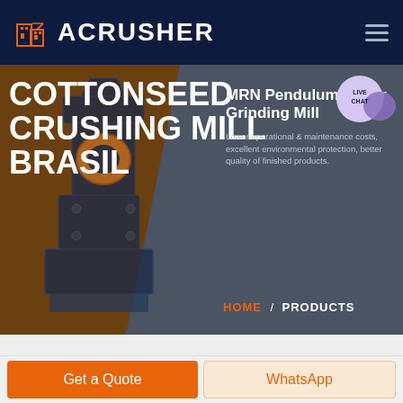ACRUSHER
[Figure (screenshot): Website screenshot showing ACRUSHER brand header with orange building logo, navigation hamburger menu, hero section with cottonseed crushing mill machinery image on brown/dark background, MRN Pendulum Roller Grinding Mill product card, LIVE CHAT bubble, HOME / PRODUCTS breadcrumb, and two bottom CTAs: Get a Quote (orange) and WhatsApp (light peach)]
COTTONSEED CRUSHING MILL BRASIL
MRN Pendulum Roller Grinding Mill
Lower operational & maintenance costs, excellent environmental protection, better quality of finished products.
HOME / PRODUCTS
Get a Quote
WhatsApp